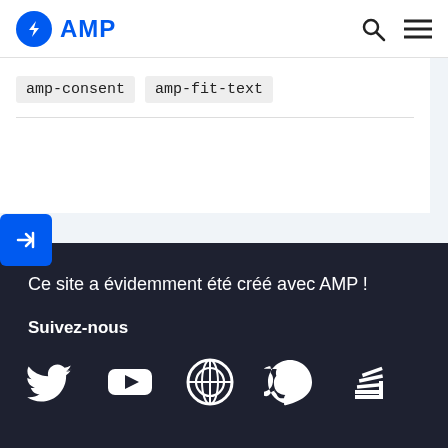AMP
amp-consent  amp-fit-text
Ce site a évidemment été créé avec AMP !
Suivez-nous
[Figure (illustration): Social media icons: Twitter, YouTube, WordPress, GitHub, Stack Overflow]